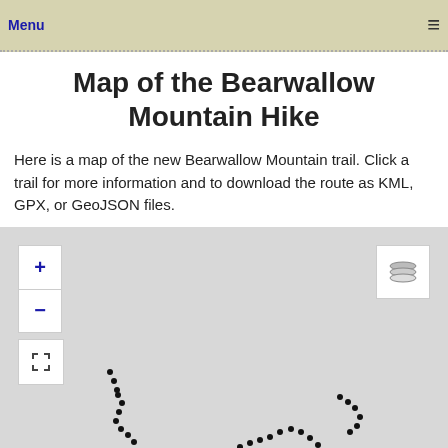Menu ≡
Map of the Bearwallow Mountain Hike
Here is a map of the new Bearwallow Mountain trail. Click a trail for more information and to download the route as KML, GPX, or GeoJSON files.
[Figure (map): Interactive map of the Bearwallow Mountain hiking trail showing a dotted trail path on a grey map background. Map controls include zoom in/out buttons, a fullscreen button, and a layers button.]